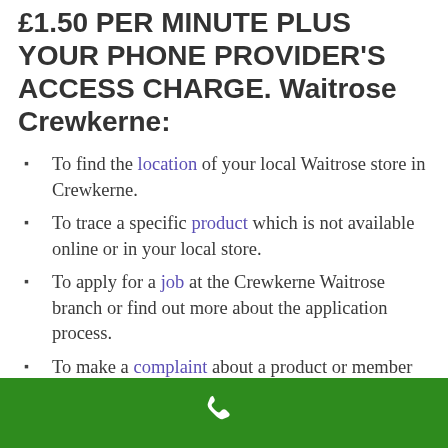£1.50 PER MINUTE PLUS YOUR PHONE PROVIDER'S ACCESS CHARGE. Waitrose Crewkerne:
To find the location of your local Waitrose store in Crewkerne.
To trace a specific product which is not available online or in your local store.
To apply for a job at the Crewkerne Waitrose branch or find out more about the application process.
To make a complaint about a product or member of staff in the Crewkerne branch.
To report a misplaced or delayed order.
Whatever your reason you can contact
[Figure (illustration): Green bar at bottom with white phone handset icon]